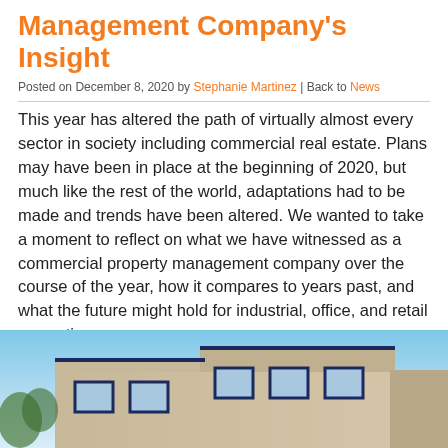Management Company's Insight
Posted on December 8, 2020 by Stephanie Martinez | Back to News
This year has altered the path of virtually almost every sector in society including commercial real estate. Plans may have been in place at the beginning of 2020, but much like the rest of the world, adaptations had to be made and trends have been altered. We wanted to take a moment to reflect on what we have witnessed as a commercial property management company over the course of the year, how it compares to years past, and what the future might hold for industrial, office, and retail properties.
[Figure (photo): Exterior view of a commercial building against a blue sky, showing stepped roofline and windows with dark frames]